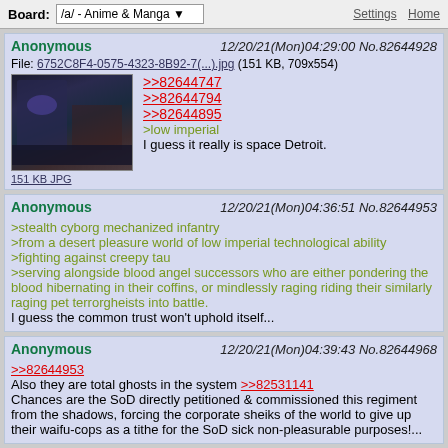Board: /a/ - Anime & Manga | Settings | Home
Anonymous 12/20/21(Mon)04:29:00 No.82644928
File: 6752C8F4-0575-4323-8B92-7(...).jpg (151 KB, 709x554)
>>82644747
>>82644794
>>82644895
>low imperial
I guess it really is space Detroit.
Anonymous 12/20/21(Mon)04:36:51 No.82644953
>stealth cyborg mechanized infantry
>from a desert pleasure world of low imperial technological ability
>fighting against creepy tau
>serving alongside blood angel successors who are either pondering the blood hibernating in their coffins, or mindlessly raging riding their similarly raging pet terrorgheists into battle.
I guess the common trust won't uphold itself...
Anonymous 12/20/21(Mon)04:39:43 No.82644968
>>82644953
Also they are total ghosts in the system >>82531141
Chances are the SoD directly petitioned & commissioned this regiment from the shadows, forcing the corporate sheiks of the world to give up their waifu-cops as a tithe for the SoD sick non-pleasurable purposes!...